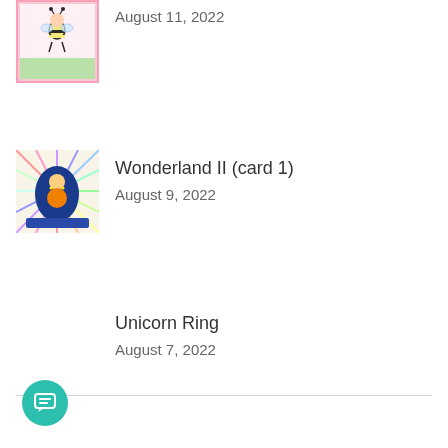[Figure (photo): Thumbnail image of a handmade card featuring a cartoon bee girl character with pink border]
August 11, 2022
[Figure (photo): Thumbnail image of a Wonderland II card with blue oval and fantasy characters]
Wonderland II (card 1)
August 9, 2022
Unicorn Ring
August 7, 2022
[Figure (illustration): Teal circular chat/message button icon in bottom left corner]